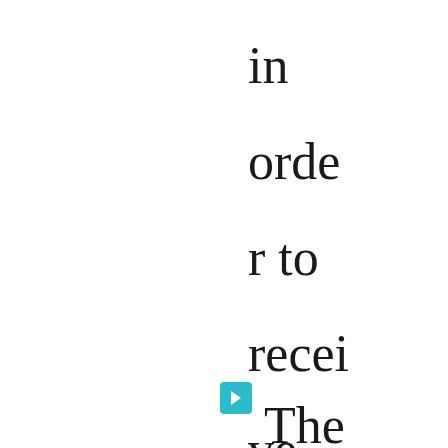in order to receive treatment.
The therapist